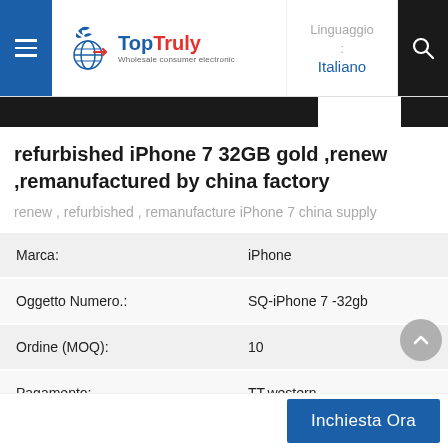TopTruly — Wholesale consumer electronic | Linguaggio: Italiano
refurbished iPhone 7 32GB gold ,renew ,remanufactured by china factory
renew , refurbished , remanufacture iPhone 7 china supply
|  |  |
| --- | --- |
| Marca: | iPhone |
| Oggetto Numero.: | SQ-iPhone 7 -32gb |
| Ordine (MOQ): | 10 |
| Pagamento: | TT,western union,moneygram,payoneer |
Inchiesta Ora